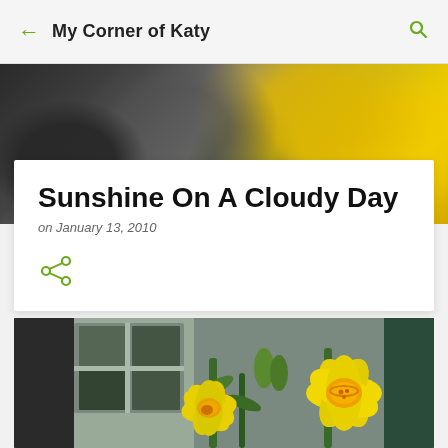My Corner of Katy
Sunshine On A Cloudy Day
on January 13, 2010
[Figure (photo): Blurred bokeh background with dark left and golden yellow right tones]
[Figure (photo): Close-up photograph of yellow daffodil flowers with orange centers against a blurred background of windows and greenery]